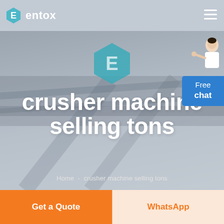entox
[Figure (screenshot): Website hero section screenshot for Entox, showing an industrial/crusher machine background image with the Entox hexagon logo centered, large white bold text reading 'crusher machine selling tons', breadcrumb navigation 'Home - crusher machine selling tons', a Free chat widget with person illustration in the top right corner, and two CTA buttons at the bottom: orange 'Get a Quote' and light orange 'WhatsApp'.]
Home  -  crusher machine selling tons
Get a Quote
WhatsApp